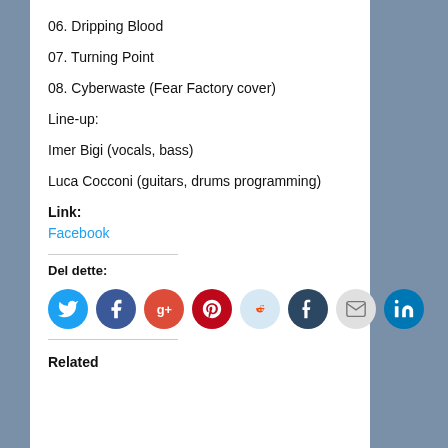06. Dripping Blood
07. Turning Point
08. Cyberwaste (Fear Factory cover)
Line-up:
Imer Bigi (vocals, bass)
Luca Cocconi (guitars, drums programming)
Link:
Facebook
Del dette:
[Figure (infographic): Row of 8 social sharing icon circles: Twitter (blue), Facebook (dark blue), Google+ (red-orange), Pinterest (dark red), Reddit (light blue), Tumblr (dark blue-grey), Email (grey), LinkedIn (blue)]
Related